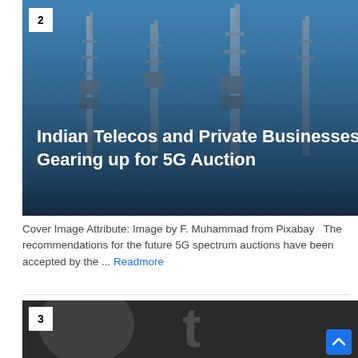[Figure (photo): Industrial telecommunications tower equipment against blue sky background, with white badge showing number 2]
Indian Telecos and Private Businesses Gearing up for 5G Auction
Cover Image Attribute: Image by F. Muhammad from Pixabay  The recommendations for the future 5G spectrum auctions have been accepted by the ... Readmore
[Figure (photo): Dark background with xpate logo text partially visible, white badge showing number 3]
Mihails Safro, xpate CEO & Founder: "Our new core banking solution will efficiently handle the escalating demands of ecommerce"
xpate, the rapidly-growing simplified cross-border payments